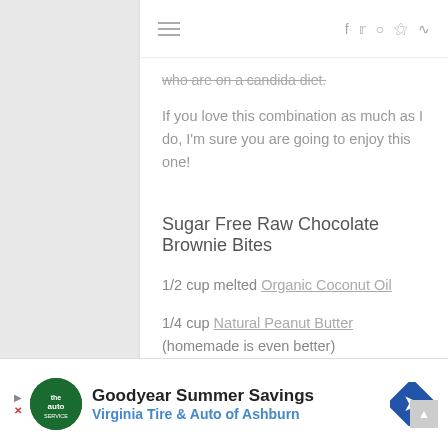☰  f  tw  ○  ℗  ⊃
who are on a candida diet.
If you love this combination as much as I do, I'm sure you are going to enjoy this one!
Sugar Free Raw Chocolate Brownie Bites
1/2 cup melted Organic Coconut Oil
1/4 cup Natural Peanut Butter (homemade is even better)
1/2 cup raw Cacao Powder
[Figure (other): Advertisement: Goodyear Summer Savings - Virginia Tire & Auto of Ashburn with logo and directional arrow icon]